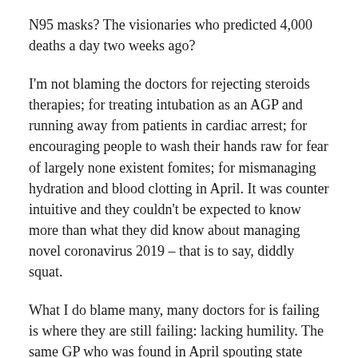N95 masks? The visionaries who predicted 4,000 deaths a day two weeks ago?
I'm not blaming the doctors for rejecting steroids therapies; for treating intubation as an AGP and running away from patients in cardiac arrest; for encouraging people to wash their hands raw for fear of largely none existent fomites; for mismanaging hydration and blood clotting in April. It was counter intuitive and they couldn't be expected to know more than what they did know about managing novel coronavirus 2019 – that is to say, diddly squat.
What I do blame many, many doctors for is failing is where they are still failing: lacking humility. The same GP who was found in April spouting state propaganda against masks uncritically in the WhatsApp groups is now unabashedly and without explanation propagandising profusely in the opposite direction. Another acute care consultant fancies himself as an